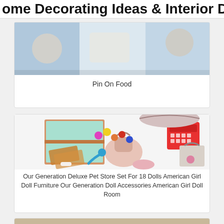Home Decorating Ideas & Interior Des…
[Figure (photo): Partial photo visible at top of first card (food/cooking related image)]
Pin On Food
[Figure (photo): Our Generation Deluxe Pet Store Set showing doll furniture including a bookshelf, pet carrier bag, rattan mats, toy register, shopping bag, and colorful pet accessories on white background]
Our Generation Deluxe Pet Store Set For 18 Dolls American Girl Doll Furniture Our Generation Doll Accessories American Girl Doll Room
[Figure (photo): Partial third card image visible at bottom of page]